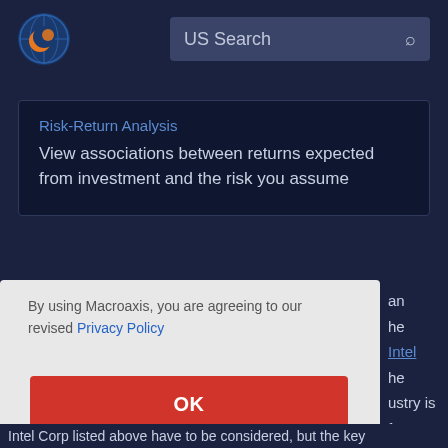[Figure (logo): Macroaxis globe logo — orange and blue circular icon]
US Search
Risk-Return Analysis
View associations between returns expected from investment and the risk you assume
By using Macroaxis, you are agreeing to our revised Privacy Policy
OK
Intel Corp listed above have to be considered, but the key